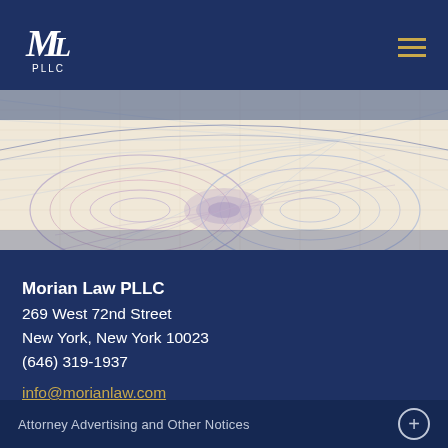ML PLLC — Morian Law PLLC logo and navigation
[Figure (illustration): Decorative security-pattern banner with layered geometric curves in lavender, rose, and blue tones on a cream background]
Morian Law PLLC
269 West 72nd Street
New York, New York 10023
(646) 319-1937
info@morianlaw.com
Attorney Advertising and Other Notices